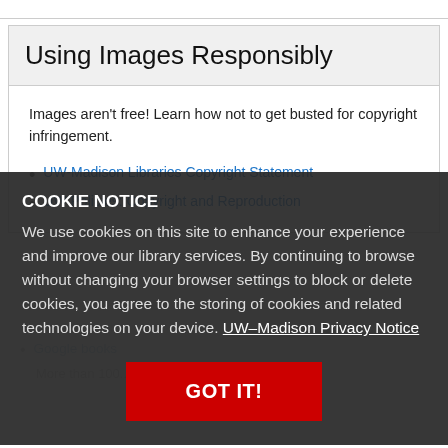Using Images Responsibly
Images aren't free! Learn how not to get busted for copyright infringement.
UW-Madison Libraries Copyright Statement
UW Policies: Copyright and Reproduction
COOKIE NOTICE
We use cookies on this site to enhance your experience and improve our library services. By continuing to browse without changing your browser settings to block or delete cookies, you agree to the storing of cookies and related technologies on your device. UW–Madison Privacy Notice
Google books
More than 100... consultation, download or oth...